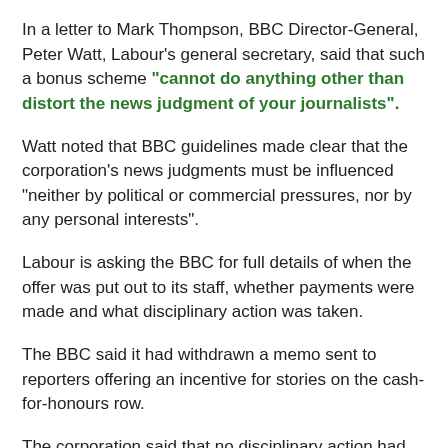In a letter to Mark Thompson, BBC Director-General, Peter Watt, Labour's general secretary, said that such a bonus scheme "cannot do anything other than distort the news judgment of your journalists".
Watt noted that BBC guidelines made clear that the corporation's news judgments must be influenced "neither by political or commercial pressures, nor by any personal interests".
Labour is asking the BBC for full details of when the offer was put out to its staff, whether payments were made and what disciplinary action was taken.
The BBC said it had withdrawn a memo sent to reporters offering an incentive for stories on the cash-for-honours row.
The corporation said that no disciplinary action had been taken against the news editor understood to be working in the BBC's political news division. The corporation said that the offer of a cash bonus was a one-off.